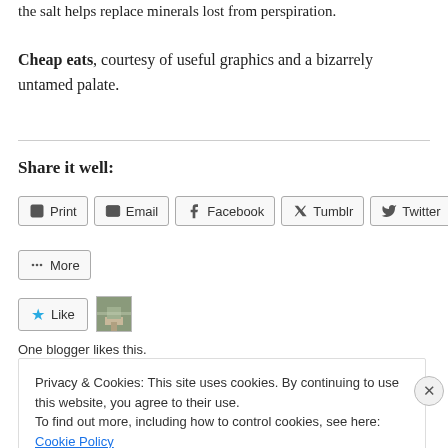the salt helps replace minerals lost from perspiration.
Cheap eats, courtesy of useful graphics and a bizarrely untamed palate.
Share it well:
Print | Email | Facebook | Tumblr | Twitter | More
Like | [blogger thumbnail]
One blogger likes this.
Privacy & Cookies: This site uses cookies. By continuing to use this website, you agree to their use. To find out more, including how to control cookies, see here: Cookie Policy
Close and accept